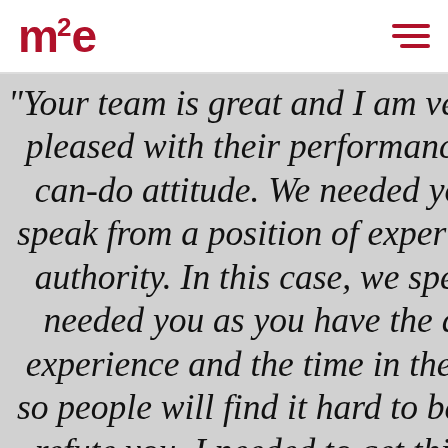[Figure (logo): m2e logo in dark red/crimson color]
"Your team is great and I am very pleased with their performance and can-do attitude. We needed you to speak from a position of experience and authority. In this case, we specifically needed you as you have the depth of experience and the time in the industry so people will find it hard to be able to refute you. I needed to get this job going, and you really helped move it